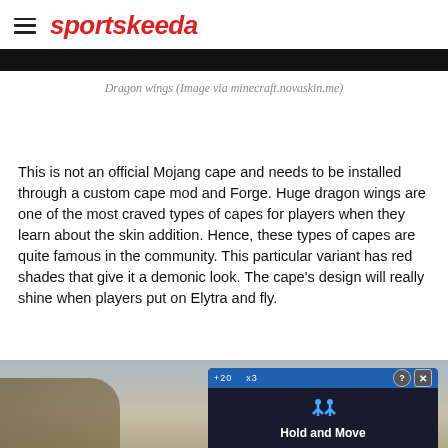sportskeeda
Dragon wings (Image via minecraft.novaskin.me)
[Figure (photo): Black bar placeholder for dragon wings image]
This is not an official Mojang cape and needs to be installed through a custom cape mod and Forge. Huge dragon wings are one of the most craved types of capes for players when they learn about the skin addition. Hence, these types of capes are quite famous in the community. This particular variant has red shades that give it a demonic look. The cape's design will really shine when players put on Elytra and fly.
[Figure (screenshot): Advertisement overlay showing Hold and Move app with outdoor background]